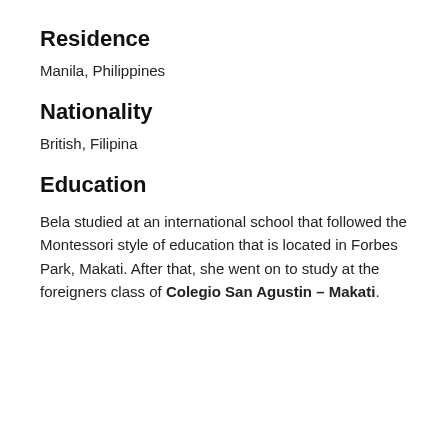Residence
Manila, Philippines
Nationality
British, Filipina
Education
Bela studied at an international school that followed the Montessori style of education that is located in Forbes Park, Makati. After that, she went on to study at the foreigners class of Colegio San Agustin – Makati.